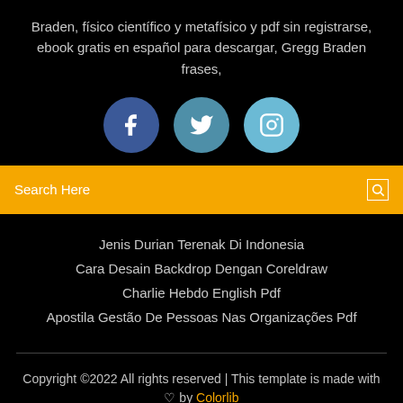Braden, físico científico y metafísico y pdf sin registrarse, ebook gratis en español para descargar, Gregg Braden frases,
[Figure (illustration): Three social media icon circles: Facebook (dark blue), Twitter (medium blue), Instagram (light blue)]
Search Here
Jenis Durian Terenak Di Indonesia
Cara Desain Backdrop Dengan Coreldraw
Charlie Hebdo English Pdf
Apostila Gestão De Pessoas Nas Organizações Pdf
Copyright ©2022 All rights reserved | This template is made with ♡ by Colorlib